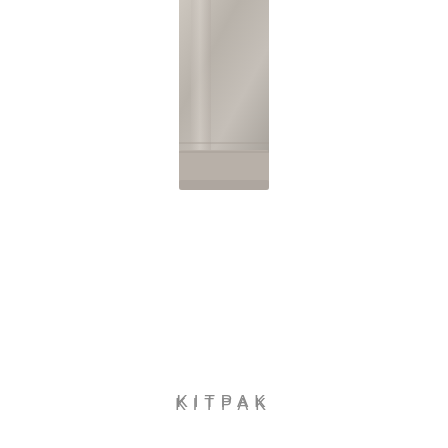[Figure (photo): A metallic silver/tan rectangular compact or case photographed from above, centered at top of page, partially cropped]
[Figure (photo): A small cream/beige rectangular compact product shown at small scale on the left]
[Figure (photo): A small eyeshadow palette with purple/mauve tones shown at small scale]
[Figure (photo): A medium-sized open eyeshadow palette with silver/grey pans in two rows]
[Figure (photo): A large open blush palette with coral/pink tones in blue packaging with two rows of four pans each]
[Figure (photo): A vertical strip of four small product thumbnail images on the right side]
KITPAK